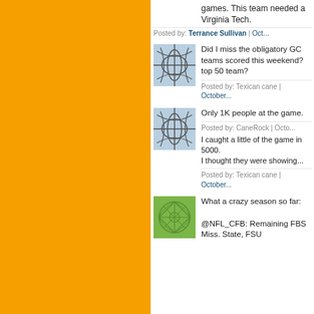[Figure (screenshot): Forum/blog comment thread page with orange sidebar on left and white content area on right showing user posts with avatars]
games. This team needed a... Virginia Tech.
Posted by: Terrance Sullivan | Oct...
Did I miss the obligatory GC... teams scored this weekend?... top 50 team?
Posted by: Texican cane | October...
Only 1K people at the game.
Posted by: CaneRock | Octo... I caught a little of the game in... 5000. I thought they were showing...
Posted by: Texican cane | October...
What a crazy season so far:
@NFL_CFB: Remaining FBS... Miss. State, FSU